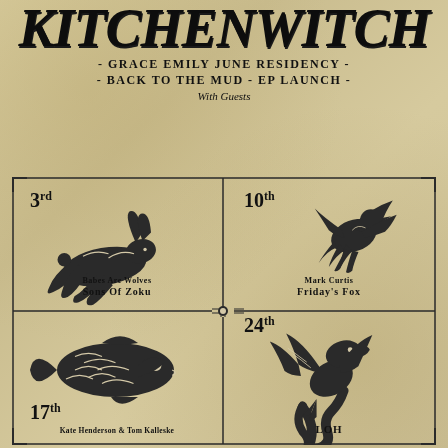KITCHENWITCH
- Grace Emily June Residency -
- BACK TO THE MUD - EP LAUNCH -
With Guests
[Figure (illustration): Four-quadrant layout with decorative border and cross dividers. Top-left: running hare illustration with '3rd', guests: Babes Are Wolves, Sons Of Zoku. Top-right: bird/crow illustration with '10th', guests: Mark Curtis, Friday's Fox. Bottom-left: fish illustration with '17th', guest: Kate Henderson & Tom Kalleske. Bottom-right: dragon/snake illustration with '24th', guest: LOH.]